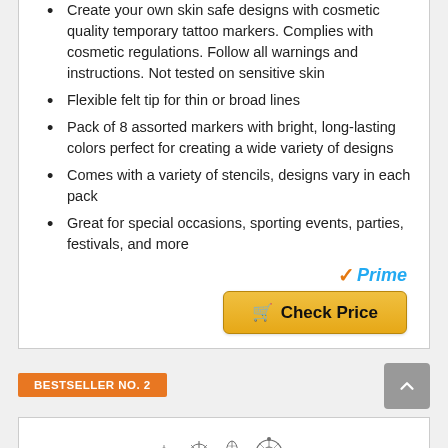Create your own skin safe designs with cosmetic quality temporary tattoo markers. Complies with cosmetic regulations. Follow all warnings and instructions. Not tested on sensitive skin
Flexible felt tip for thin or broad lines
Pack of 8 assorted markers with bright, long-lasting colors perfect for creating a wide variety of designs
Comes with a variety of stencils, designs vary in each pack
Great for special occasions, sporting events, parties, festivals, and more
[Figure (logo): Amazon Prime logo with orange checkmark and blue Prime text]
[Figure (other): Check Price button with shopping cart icon on golden/orange background]
BESTSELLER NO. 2
[Figure (illustration): Decorative tattoo stencil designs at the bottom of the page]